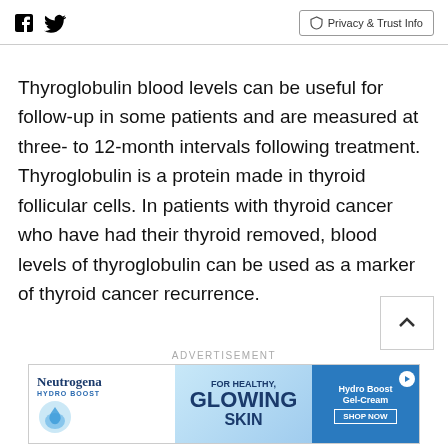Social icons (Facebook, Twitter) | Privacy & Trust Info
Thyroglobulin blood levels can be useful for follow-up in some patients and are measured at three- to 12-month intervals following treatment. Thyroglobulin is a protein made in thyroid follicular cells. In patients with thyroid cancer who have had their thyroid removed, blood levels of thyroglobulin can be used as a marker of thyroid cancer recurrence.
[Figure (other): Neutrogena Hydro Boost advertisement banner for Healthy Glowing Skin - Hydro Boost Gel-Cream, Shop Now]
ADVERTISEMENT